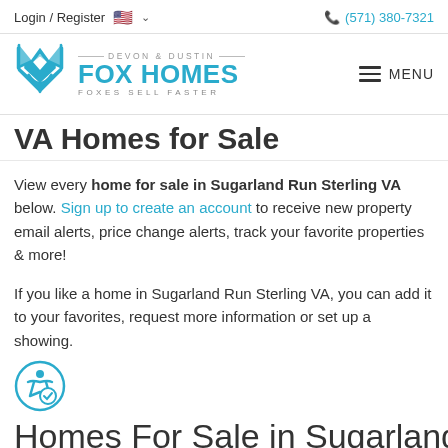Login / Register  🇺🇸 ∨    📞 (571) 380-7321
[Figure (logo): Fox Homes logo with teal fox icon and text: DEVON & DUSTIN FOX HOMES FOXES SELL FASTER]
VA Homes for Sale
View every home for sale in Sugarland Run Sterling VA below. Sign up to create an account to receive new property email alerts, price change alerts, track your favorite properties & more!
If you like a home in Sugarland Run Sterling VA, you can add it to your favorites, request more information or set up a showing.
Homes For Sale in Sugarland